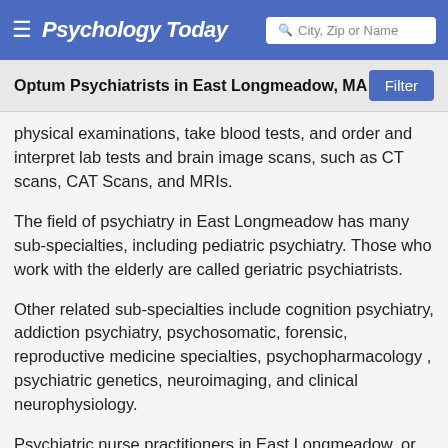Psychology Today | City, Zip or Name
Optum Psychiatrists in East Longmeadow, MA
physical examinations, take blood tests, and order and interpret lab tests and brain image scans, such as CT scans, CAT Scans, and MRIs.
The field of psychiatry in East Longmeadow has many sub-specialties, including pediatric psychiatry. Those who work with the elderly are called geriatric psychiatrists.
Other related sub-specialties include cognition psychiatry, addiction psychiatry, psychosomatic, forensic, reproductive medicine specialties, psychopharmacology , psychiatric genetics, neuroimaging, and clinical neurophysiology.
Psychiatric nurse practitioners in East Longmeadow, or mental health nurse practitioners, generally have an MS